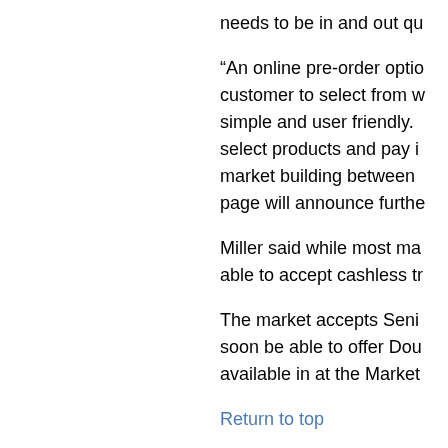needs to be in and out qu
“An online pre-order optio customer to select from w simple and user friendly. select products and pay i market building between page will announce furthe
Miller said while most ma able to accept cashless tr
The market accepts Seni soon be able to offer Dou available in at the Market
Return to top